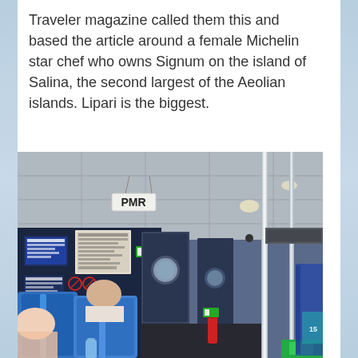Traveler magazine called them this and based the article around a female Michelin star chef who owns Signum on the island of Salina, the second largest of the Aeolian islands. Lipari is the biggest.
[Figure (photo): Interior of a ferry or passenger vessel cabin showing blue seats with passengers seated, dark navy blue walls with posted notices and signs, a corridor leading to doors with a porthole window, chrome/steel support poles, ceiling with recessed lighting, and a sign reading 'PMR' hanging from the ceiling.]